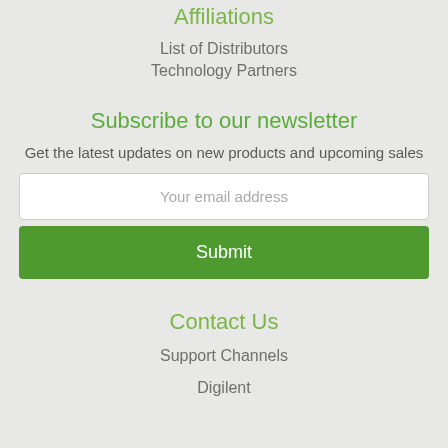Affiliations
List of Distributors
Technology Partners
Subscribe to our newsletter
Get the latest updates on new products and upcoming sales
Your email address
Submit
Contact Us
Support Channels
Digilent